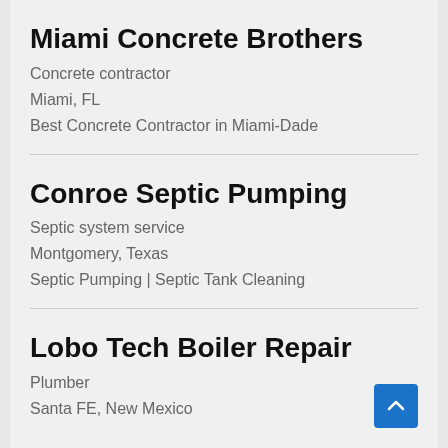Miami Concrete Brothers
Concrete contractor
Miami, FL
Best Concrete Contractor in Miami-Dade
Conroe Septic Pumping
Septic system service
Montgomery, Texas
Septic Pumping | Septic Tank Cleaning
Lobo Tech Boiler Repair
Plumber
Santa FE, New Mexico